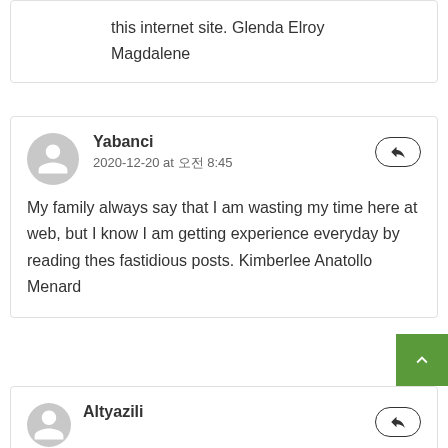this internet site. Glenda Elroy Magdalene
Yabanci
2020-12-20 at 오전 8:45
My family always say that I am wasting my time here at web, but I know I am getting experience everyday by reading thes fastidious posts. Kimberlee Anatollo Menard
Altyazili